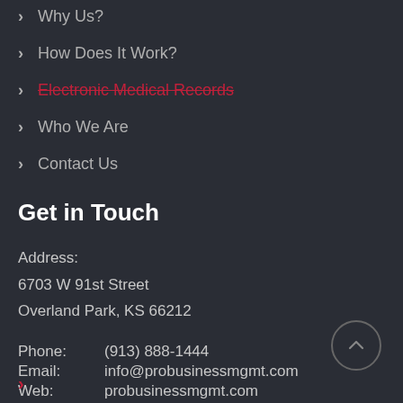Why Us?
How Does It Work?
Electronic Medical Records
Who We Are
Contact Us
Get in Touch
Address:
6703 W 91st Street
Overland Park, KS 66212
Phone:     (913) 888-1444
Email:     info@probusinessmgmt.com
Web:     probusinessmgmt.com